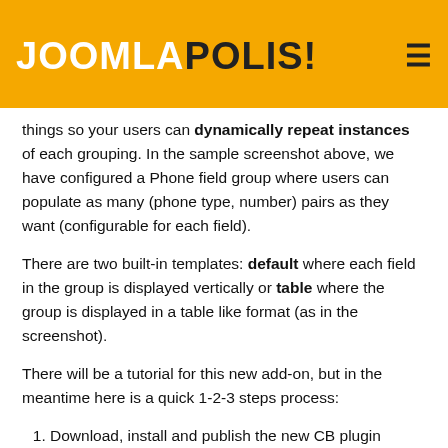JOOMLAPOLIS!
things so your users can dynamically repeat instances of each grouping. In the sample screenshot above, we have configured a Phone field group where users can populate as many (phone type, number) pairs as they want (configurable for each field).
There are two built-in templates: default where each field in the group is displayed vertically or table where the group is displayed in a table like format (as in the screenshot).
There will be a tutorial for this new add-on, but in the meantime here is a quick 1-2-3 steps process:
Download, install and publish the new CB plugin (requires Community Builder 2.2.1 or better)
Using the CB Field manager create new placeholder fields (e.g., dropdown field for phone type and text field for phone number)
Again using the CB Field manager create a new Field Group field and in the field Parameters -> Display tab